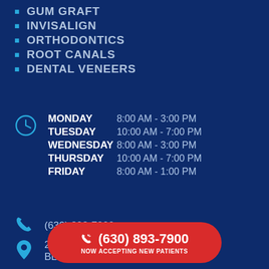GUM GRAFT
INVISALIGN
ORTHODONTICS
ROOT CANALS
DENTAL VENEERS
MONDAY 8:00 AM - 3:00 PM
TUESDAY 10:00 AM - 7:00 PM
WEDNESDAY 8:00 AM - 3:00 PM
THURSDAY 10:00 AM - 7:00 PM
FRIDAY 8:00 AM - 1:00 PM
(630) 893-7900
290 SPRINGFIELD DR #280
BLOOMINGDALE
(630) 893-7900
NOW ACCEPTING NEW PATIENTS